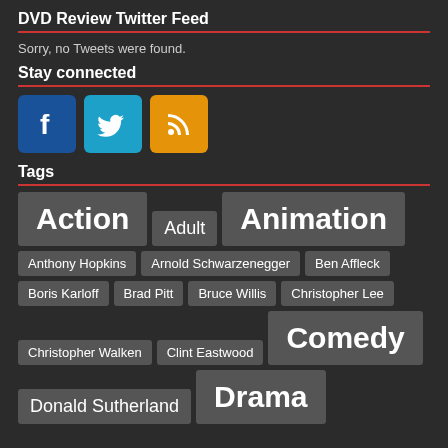DVD Review Twitter Feed
Sorry, no Tweets were found.
Stay connected
[Figure (other): Three social media icons: Facebook (blue), Twitter (cyan), RSS (orange)]
Tags
Action
Adult
Animation
Anthony Hopkins
Arnold Schwarzenegger
Ben Affleck
Boris Karloff
Brad Pitt
Bruce Willis
Christopher Lee
Christopher Walken
Clint Eastwood
Comedy
Donald Sutherland
Drama